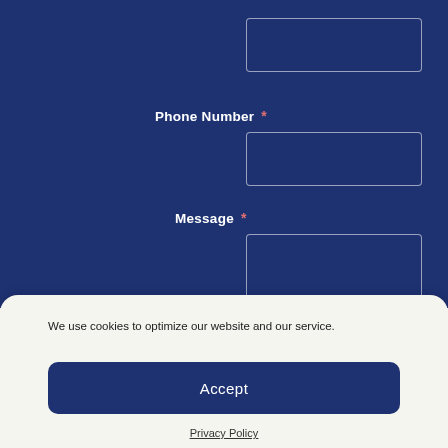[Figure (screenshot): Blue form section with input fields for Phone Number and Message, each marked with a red asterisk indicating required fields. Fields are shown as empty bordered boxes on a dark blue background.]
Phone Number *
Message *
We use cookies to optimize our website and our service.
Accept
Privacy Policy